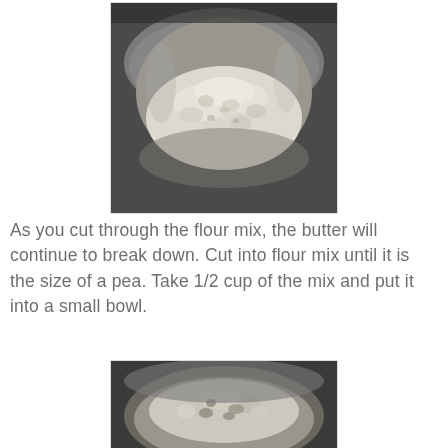[Figure (photo): A glass mixing bowl containing a mound of crumbly flour and butter mixture, photographed from above at an angle. The mixture appears coarse and sandy-textured.]
As you cut through the flour mix, the butter will continue to break down. Cut into flour mix until it is the size of a pea. Take 1/2 cup of the mix and put it into a small bowl.
[Figure (photo): A round glass bowl containing a crumbly flour and butter mixture with visible larger butter chunks, photographed from above at an angle.]